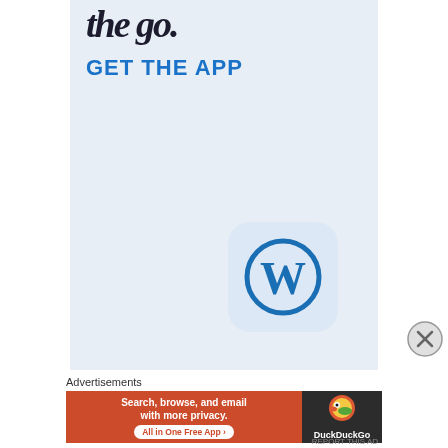the go.
GET THE APP
[Figure (logo): WordPress app icon: rounded square with light blue background, WordPress 'W' logo in blue]
Advertisements
[Figure (other): DuckDuckGo advertisement banner: orange left side with text 'Search, browse, and email with more privacy. All in One Free App', dark right side with DuckDuckGo duck logo and name]
[Figure (other): Close/dismiss button: circle with X]
REPORT THIS AD